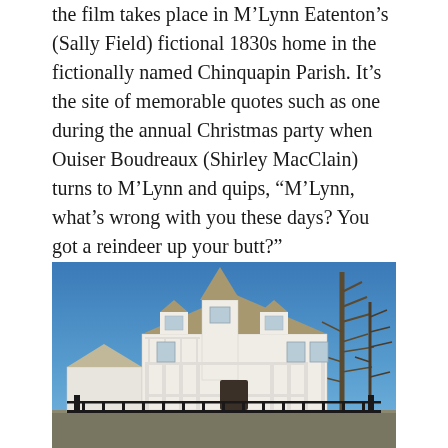the film takes place in M'Lynn Eatenton's (Sally Field) fictional 1830s home in the fictionally named Chinquapin Parish. It's the site of memorable quotes such as one during the annual Christmas party when Ouiser Boudreaux (Shirley MacClain) turns to M'Lynn and quips, “M’Lynn, what’s wrong with you these days? You got a reindeer up your butt?”
[Figure (photo): A large white Victorian-style house with a pointed tower, wrap-around porch with white columns and railings, decorative trim, multiple gabled dormers, brown shingled roof, surrounded by bare winter trees, and a black iron fence in the foreground. Blue sky in the background.]